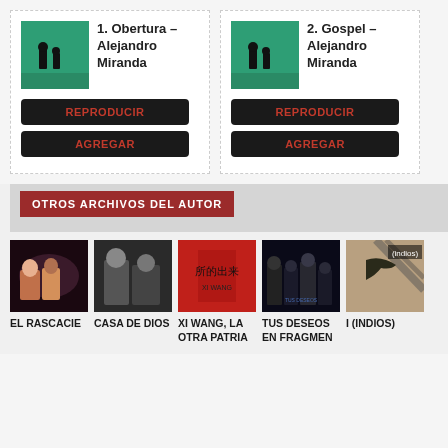[Figure (screenshot): Track card 1: Obertura – Alejandro Miranda with teal/green background thumbnail showing two silhouetted figures]
[Figure (screenshot): Track card 2: Gospel – Alejandro Miranda with teal/green background thumbnail showing two silhouetted figures]
OTROS ARCHIVOS DEL AUTOR
[Figure (photo): EL RASCACIE - two people on stage]
[Figure (photo): CASA DE DIOS - two people]
[Figure (photo): XI WANG, LA OTRA PATRIA - red cover with Chinese characters]
[Figure (photo): TUS DESEOS EN FRAGMEN - dark group photo]
[Figure (photo): I (INDIOS) - bird/shadow photo]
EL RASCACIE
CASA DE DIOS
XI WANG, LA OTRA PATRIA
TUS DESEOS EN FRAGMEN
I (INDIOS)